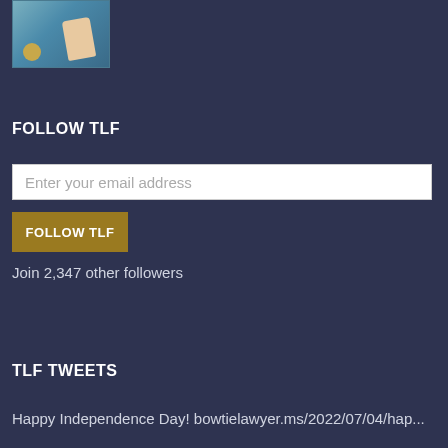[Figure (photo): Thumbnail image of a person holding something, with a badge/seal, on a blue-teal background]
FOLLOW TLF
Enter your email address
FOLLOW TLF
Join 2,347 other followers
TLF TWEETS
Happy Independence Day! bowtielawyer.ms/2022/07/04/hap...